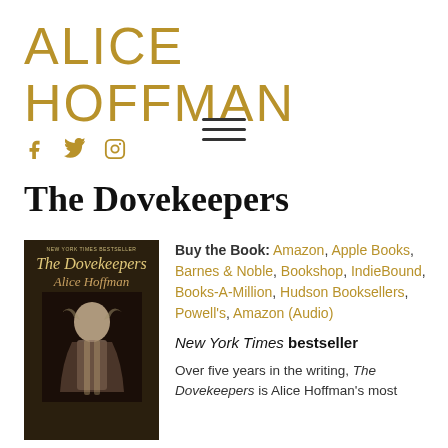ALICE HOFFMAN
[Figure (other): Social media icons: Facebook (f), Twitter (bird), Instagram (camera outline) in golden/amber color]
[Figure (other): Hamburger menu icon (three horizontal lines)]
The Dovekeepers
[Figure (photo): Book cover of The Dovekeepers by Alice Hoffman - New York Times Bestseller. Dark cover showing a young woman with long braided hair wearing a white dress against a dark background.]
Buy the Book: Amazon, Apple Books, Barnes & Noble, Bookshop, IndieBound, Books-A-Million, Hudson Booksellers, Powell's, Amazon (Audio)
New York Times bestseller
Over five years in the writing, The Dovekeepers is Alice Hoffman's most